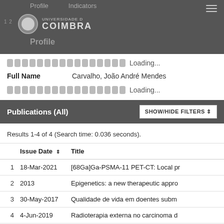Universidade de Coimbra — Profile page header
Loading...
Full Name   Carvalho, João André Mendes
Loading...
Publications (All)
Results 1-4 of 4 (Search time: 0.036 seconds).
|  | Issue Date ⇕ | Title |
| --- | --- | --- |
| 1 | 18-Mar-2021 | [68Ga]Ga-PSMA-11 PET-CT: Local pr |
| 2 | 2013 | Epigenetics: a new therapeutic appro |
| 3 | 30-May-2017 | Qualidade de vida em doentes subm |
| 4 | 4-Jun-2019 | Radioterapia externa no carcinoma d |